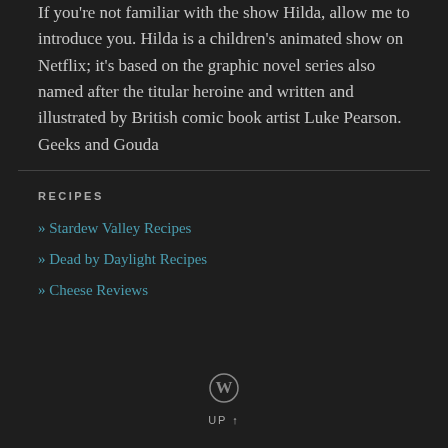If you're not familiar with the show Hilda, allow me to introduce you. Hilda is a children's animated show on Netflix; it's based on the graphic novel series also named after the titular heroine and written and illustrated by British comic book artist Luke Pearson. Geeks and Gouda
RECIPES
» Stardew Valley Recipes
» Dead by Daylight Recipes
» Cheese Reviews
UP ↑